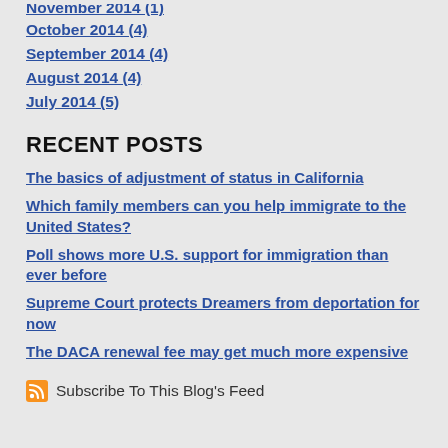October 2014 (4)
September 2014 (4)
August 2014 (4)
July 2014 (5)
RECENT POSTS
The basics of adjustment of status in California
Which family members can you help immigrate to the United States?
Poll shows more U.S. support for immigration than ever before
Supreme Court protects Dreamers from deportation for now
The DACA renewal fee may get much more expensive
Subscribe To This Blog's Feed